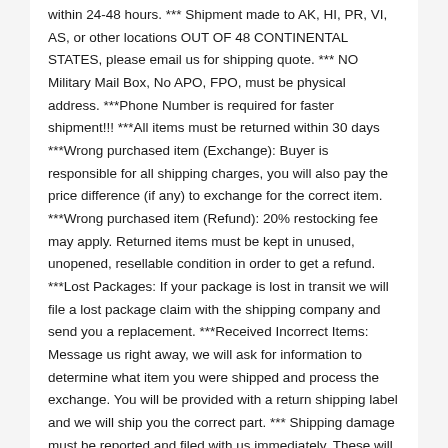within 24-48 hours. *** Shipment made to AK, HI, PR, VI, AS, or other locations OUT OF 48 CONTINENTAL STATES, please email us for shipping quote. *** NO Military Mail Box, No APO, FPO, must be physical address. ***Phone Number is required for faster shipment!!! ***All items must be returned within 30 days ***Wrong purchased item (Exchange): Buyer is responsible for all shipping charges, you will also pay the price difference (if any) to exchange for the correct item. ***Wrong purchased item (Refund): 20% restocking fee may apply. Returned items must be kept in unused, unopened, resellable condition in order to get a refund. ***Lost Packages: If your package is lost in transit we will file a lost package claim with the shipping company and send you a replacement. ***Received Incorrect Items: Message us right away, we will ask for information to determine what item you were shipped and process the exchange. You will be provided with a return shipping label and we will ship you the correct part. *** Shipping damage must be reported and filed with us immediately. These will benefit you in getting your RESHIP item SOONER. Please keep the